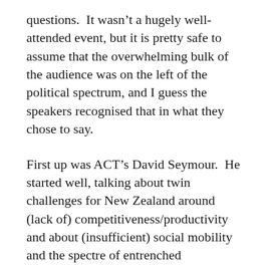questions.  It wasn't a hugely well-attended event, but it is pretty safe to assume that the overwhelming bulk of the audience was on the left of the political spectrum, and I guess the speakers recognised that in what they chose to say.
First up was ACT's David Seymour.  He started well, talking about twin challenges for New Zealand around (lack of) competitiveness/productivity and about (insufficient) social mobility and the spectre of entrenched disadvantage.  He was bold enough to note that there is a large group, mostly Maori, who  – rightly and reasonably –  feel that the last 30 years has not done much for them,